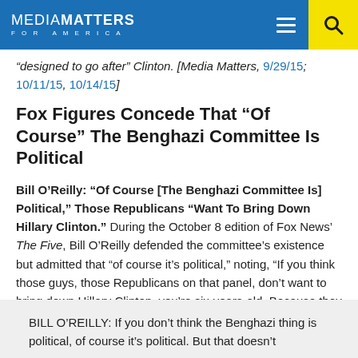MEDIA MATTERS FOR AMERICA
“designed to go after” Clinton. [Media Matters, 9/29/15; 10/11/15, 10/14/15]
Fox Figures Concede That “Of Course” The Benghazi Committee Is Political
Bill O’Reilly: “Of Course [The Benghazi Committee Is] Political,” Those Republicans “Want To Bring Down Hillary Clinton.” During the October 8 edition of Fox News’ The Five, Bill O’Reilly defended the committee’s existence but admitted that “of course it’s political,” noting, “If you think those guys, those Republicans on that panel, don’t want to bring down Hillary Clinton, you’re six-years-old. Because they do”:
BILL O’REILLY: If you don’t think the Benghazi thing is political, of course it’s political. But that doesn’t